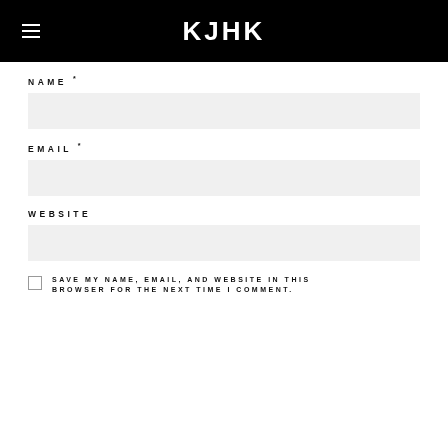KJHK
NAME *
EMAIL *
WEBSITE
SAVE MY NAME, EMAIL, AND WEBSITE IN THIS BROWSER FOR THE NEXT TIME I COMMENT.